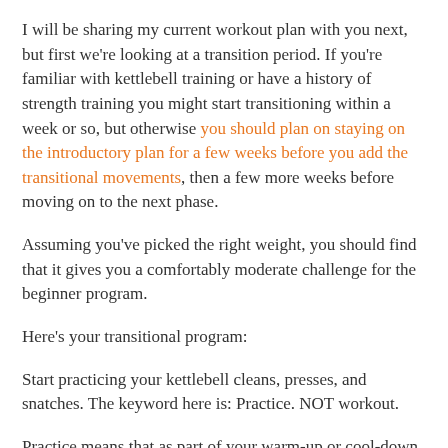I will be sharing my current workout plan with you next, but first we're looking at a transition period. If you're familiar with kettlebell training or have a history of strength training you might start transitioning within a week or so, but otherwise you should plan on staying on the introductory plan for a few weeks before you add the transitional movements, then a few more weeks before moving on to the next phase.
Assuming you've picked the right weight, you should find that it gives you a comfortably moderate challenge for the beginner program.
Here's your transitional program:
Start practicing your kettlebell cleans, presses, and snatches. The keyword here is: Practice. NOT workout.
Practice means that as part of your warm-up or cool-down on